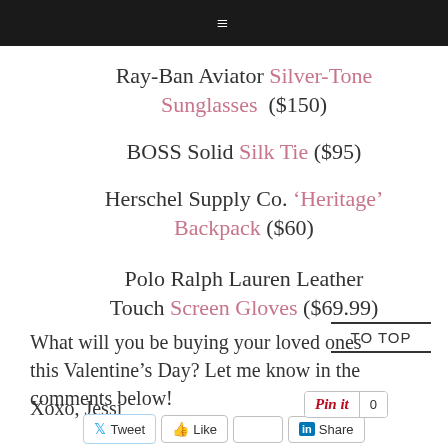≡
Ray-Ban Aviator Silver-Tone Sunglasses ($150)
BOSS Solid Silk Tie ($95)
Herschel Supply Co. 'Heritage' Backpack ($60)
Polo Ralph Lauren Leather Touch Screen Gloves ($69.99)
What will you be buying your loved ones this Valentine's Day? Let me know in the comments below!
Xoxo, Jessi
TO TOP